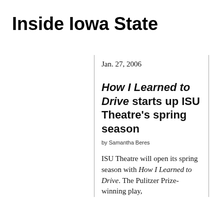Inside Iowa State
Jan. 27, 2006
How I Learned to Drive starts up ISU Theatre's spring season
by Samantha Beres
ISU Theatre will open its spring season with How I Learned to Drive. The Pulitzer Prize-winning play,